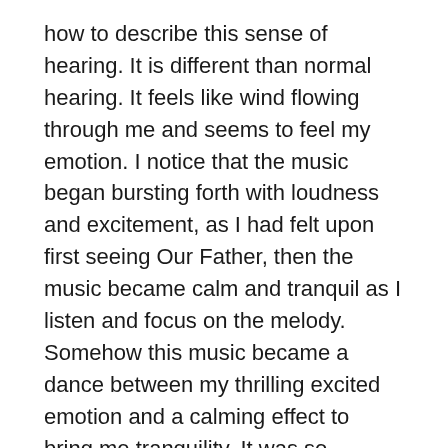how to describe this sense of hearing. It is different than normal hearing. It feels like wind flowing through me and seems to feel my emotion. I notice that the music began bursting forth with loudness and excitement, as I had felt upon first seeing Our Father, then the music became calm and tranquil as I listen and focus on the melody. Somehow this music became a dance between my thrilling excited emotion and a calming effect to bring me tranquility. It was so beautiful!
Next, I focus on how extremely bright my surrounding is, as though I am inside the sun surrounded by whiteness. Imagine being inside a light bulb, and yet the brightness doesn't hurt your eyes or cause them to squint. This is even brighter. I can see every detail so clearly and sharp. The focus